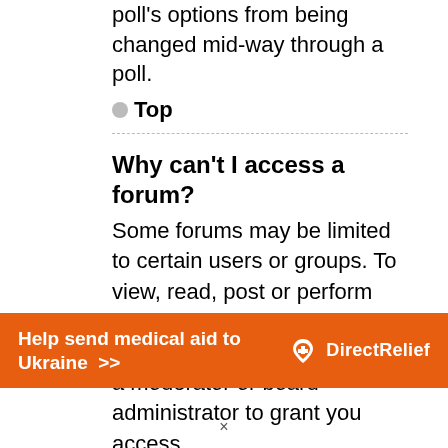poll's options from being changed mid-way through a poll.
▲ Top
Why can't I access a forum?
Some forums may be limited to certain users or groups. To view, read, post or perform another action you may need special permissions. Contact a moderator or board administrator to grant you access.
[Figure (infographic): Orange advertisement banner reading 'Help send medical aid to Ukraine >>' with Direct Relief logo on the right]
×